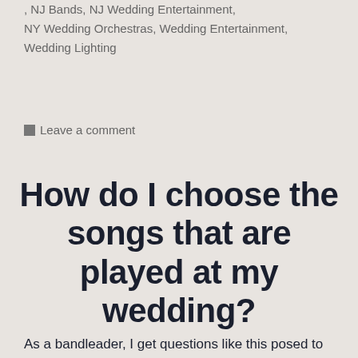, NJ Bands, NJ Wedding Entertainment, NY Wedding Orchestras, Wedding Entertainment, Wedding Lighting
Leave a comment
How do I choose the songs that are played at my wedding?
As a bandleader, I get questions like this posed to me